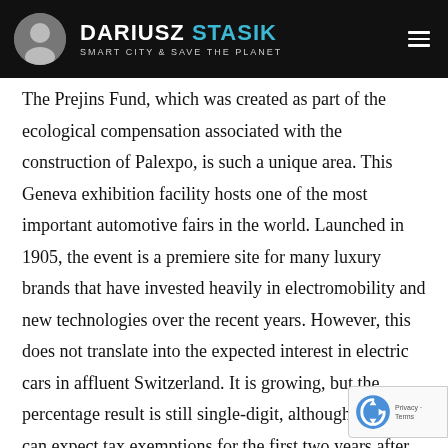DARIUSZ STASIK — SMART CITY & SAVE THE PLANET
The Prejins Fund, which was created as part of the ecological compensation associated with the construction of Palexpo, is such a unique area. This Geneva exhibition facility hosts one of the most important automotive fairs in the world. Launched in 1905, the event is a premiere site for many luxury brands that have invested heavily in electromobility and new technologies over the recent years. However, this does not translate into the expected interest in electric cars in affluent Switzerland. It is growing, but the percentage result is still single-digit, although the Swiss can expect tax exemptions for the first two years after acquiring an electric car. In the canton of Geneva, a strategy for the development of the charging network is under implementation. For over a year now, private terminal installations in places of collective or individual residence